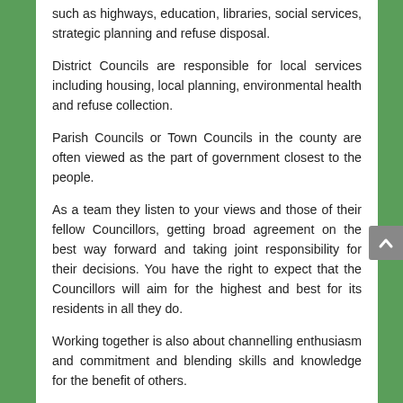such as highways, education, libraries, social services, strategic planning and refuse disposal.
District Councils are responsible for local services including housing, local planning, environmental health and refuse collection.
Parish Councils or Town Councils in the county are often viewed as the part of government closest to the people.
As a team they listen to your views and those of their fellow Councillors, getting broad agreement on the best way forward and taking joint responsibility for their decisions. You have the right to expect that the Councillors will aim for the highest and best for its residents in all they do.
Working together is also about channelling enthusiasm and commitment and blending skills and knowledge for the benefit of others.